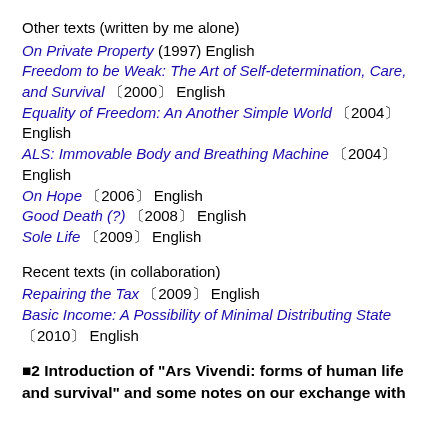Other texts (written by me alone)
On Private Property (1997) English
Freedom to be Weak: The Art of Self-determination, Care, and Survival 〔2000〕 English
Equality of Freedom: An Another Simple World 〔2004〕 English
ALS: Immovable Body and Breathing Machine 〔2004〕 English
On Hope 〔2006〕 English
Good Death (?) 〔2008〕 English
Sole Life 〔2009〕 English
Recent texts (in collaboration)
Repairing the Tax 〔2009〕 English
Basic Income: A Possibility of Minimal Distributing State 〔2010〕 English
■2 Introduction of "Ars Vivendi: forms of human life and survival" and some notes on our exchange with